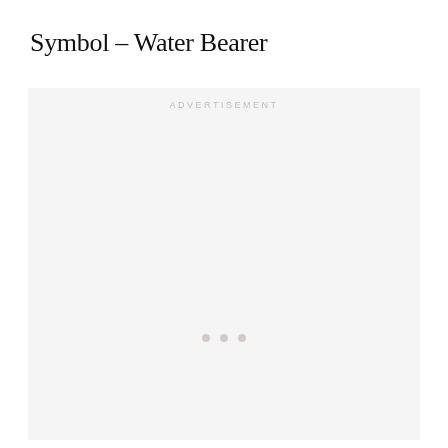Symbol – Water Bearer
[Figure (other): Advertisement placeholder box with light gray background, 'ADVERTISEMENT' label at top center, and three small gray dots in the center-lower area indicating loading state.]